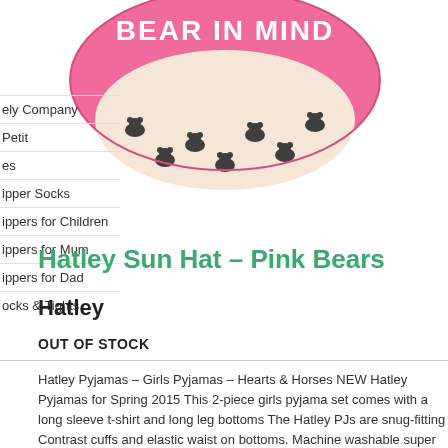[Figure (photo): Pink sun hat with black bear pattern and 'BEAR IN MIND' text on brim, viewed from below]
ely Company
Petit
es
ipper Socks
ippers for Children
Hatley Sun Hat – Pink Bears
ippers for Mum
Hatley
ippers for Dad
OUT OF STOCK
ocks & Tights
Hatley Pyjamas – Girls Pyjamas – Hearts & Horses NEW Hatley Pyjamas for Spring 2015 This 2-piece girls pyjama set comes with a long sleeve t-shirt and long leg bottoms The Hatley PJs are snug-fitting Contrast cuffs and elastic waist on bottoms. Machine washable super soft cotton